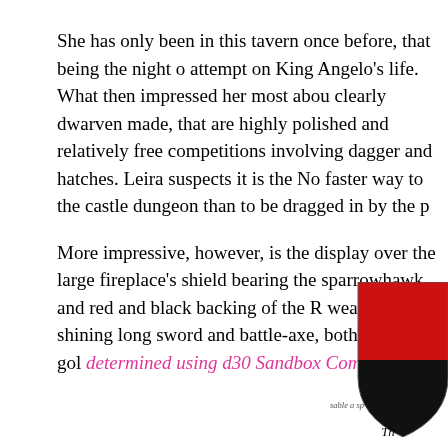She has only been in this tavern once before, that being the night of the attempt on King Angelo's life. What then impressed her most about it are the clearly dwarven made, that are highly polished and relatively free of competitions involving dagger and hatches. Leira suspects it is the No faster way to the castle dungeon than to be dragged in by the p

More impressive, however, is the display over the large fireplace's shield bearing the sparrowhawk and red and black backing of the R weapons: a shining long sword and battle-axe, both fitted with gol determined using d30 Sandbox Companion]
[Figure (illustration): A heraldic shield with red upper portion and black lower curved portion, partially visible at right edge of page (cropped). Small text below reads 'sable a sp' and italic text 'Th']